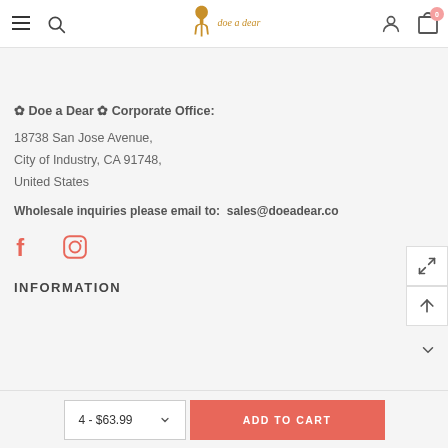doe a dear — navigation header with hamburger, search, logo, account, cart (0)
✿ Doe a Dear ✿ Corporate Office:
18738 San Jose Avenue,
City of Industry, CA 91748,
United States
Wholesale inquiries please email to:  sales@doeadear.co
[Figure (other): Facebook and Instagram social media icons]
INFORMATION
4 - $63.99   ADD TO CART (bottom bar)